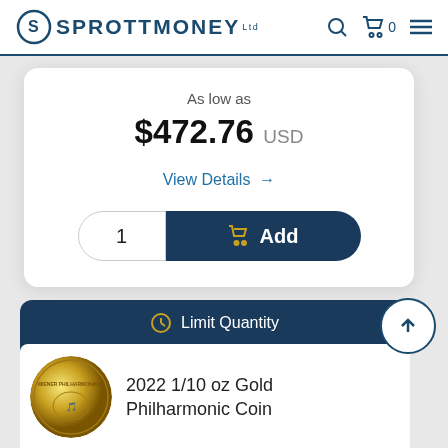SPROTTMONEY
As low as
$472.76 USD
View Details →
1  Add
Limit Quantity
2022 1/10 oz Gold Philharmonic Coin